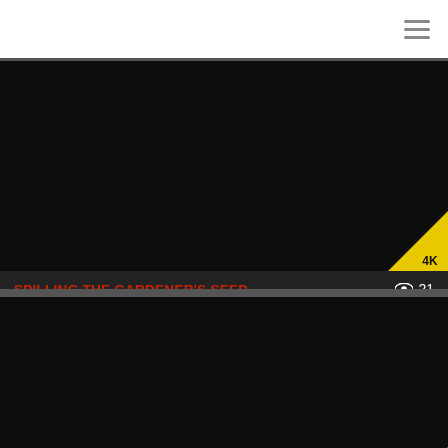[Figure (screenshot): Top white navigation bar with hamburger menu icon on right]
[Figure (photo): Dark video thumbnail with 4K badge in bottom-right corner]
SPILLING THE GARDENER'S SEED
21
Georgie Lyall, Mia Malkova
00:38:54
[Figure (photo): Dark video thumbnail with 4K badge in bottom-right corner]
THREESOME WITH MRLVCKYPOV
20